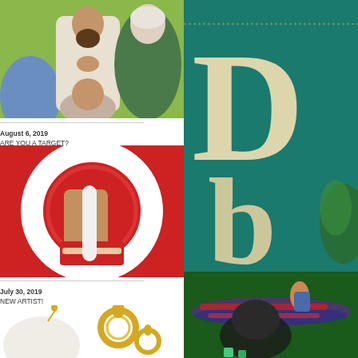[Figure (illustration): Illustration of a bearded man in white robes with hands clasped in prayer, and a woman in green and white head covering, with a child in foreground, painted illustration style with green/yellow background]
August 6, 2019
ARE YOU A TARGET?
[Figure (illustration): Illustration showing a close-up of a hand gripping a white circular/ring shape against a red background, appearing to be a stylized image]
July 30, 2019
NEW ARTIST!
[Figure (illustration): Partial view of a fantasy book cover with teal/green background, large decorative letters 'D' visible in cream/gold, and a fantasy scene with a figure and creature below]
[Figure (illustration): Partial bottom illustration showing jewelry/gold ornaments on white background]